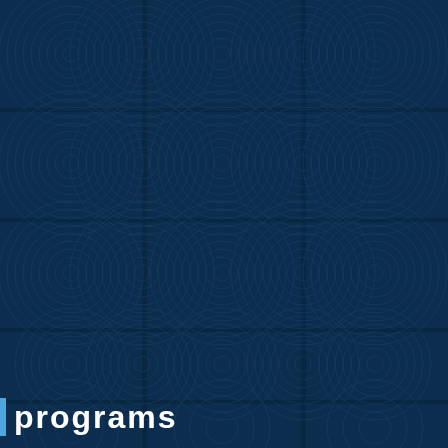[Figure (illustration): Dark navy blue background with repeating geometric pattern of concentric circles arranged in a 3-column grid. The circles create an overlapping lens/vesica piscis pattern. The pattern is rendered in slightly lighter blue lines on the dark navy background, creating a subtle textured tile effect.]
programs